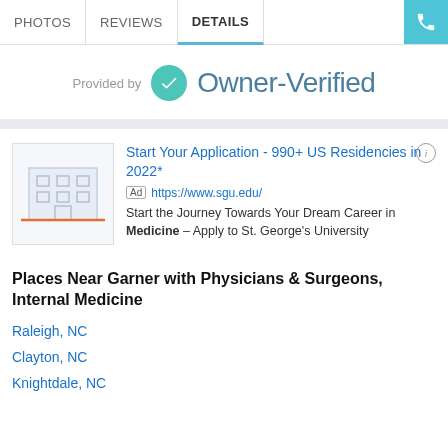PHOTOS  REVIEWS  DETAILS
[Figure (logo): Owner-Verified logo with teal checkmark badge and text reading 'Provided by Owner-Verified']
[Figure (infographic): Advertisement for St. George's University: 'Start Your Application - 990+ US Residencies in 2022*' with building illustration, Ad badge, URL https://www.sgu.edu/, and description 'Start the Journey Towards Your Dream Career in Medicine – Apply to St. George's University']
Places Near Garner with Physicians & Surgeons, Internal Medicine
Raleigh, NC
Clayton, NC
Knightdale, NC